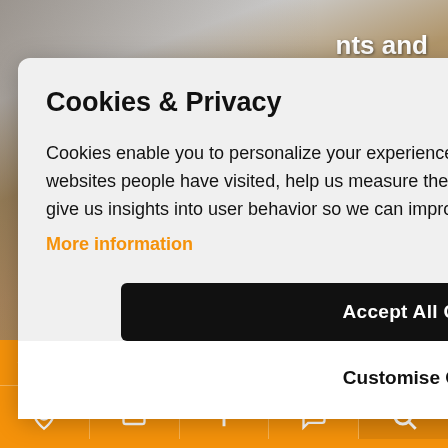[Figure (photo): Background photo showing people standing, partially visible. Text overlay reads 'ments and o Wood' in white on the upper right.]
Cookies & Privacy
Cookies enable you to personalize your experience on our site, tell us which parts of our websites people have visited, help us measure the effectiveness of ads and web searches, and give us insights into user behavior so we can improve our communications and products.
More information
Accept All Cookies
Customise Cookies
NEW VILLAS
SELL YOUR PROPERTY